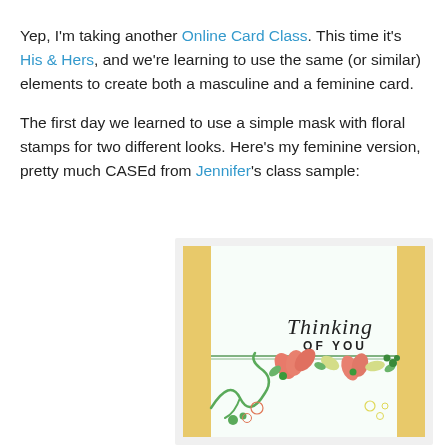Yep, I'm taking another Online Card Class. This time it's His & Hers, and we're learning to use the same (or similar) elements to create both a masculine and a feminine card.
The first day we learned to use a simple mask with floral stamps for two different looks. Here's my feminine version, pretty much CASEd from Jennifer's class sample:
[Figure (photo): A handmade greeting card with a light mint background, gold/yellow side borders, the text 'Thinking OF YOU' in script and bold fonts, and a floral border with coral, green, and yellow flowers and swirling green vines at the bottom.]